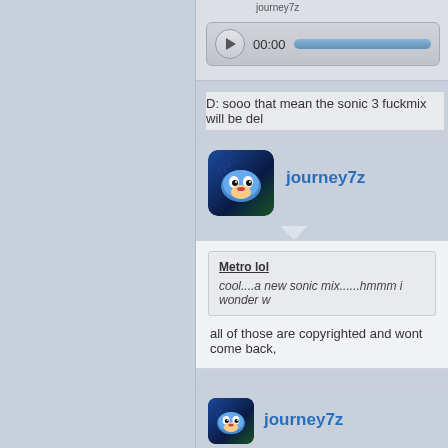[Figure (screenshot): Audio player control bar showing play button, 00:00 timestamp, and blue progress bar]
journey7z
D: sooo that mean the sonic 3 fuckmix will be del
[Figure (photo): Avatar image showing a Sonic the Hedgehog character with blue and green background]
journey7z
Metro lol
cool....a new sonic mix......hmmm i wonder w
all of those are copyrighted and wont come back,
[Figure (photo): Avatar image showing a Sonic the Hedgehog character with blue and green background]
journey7z